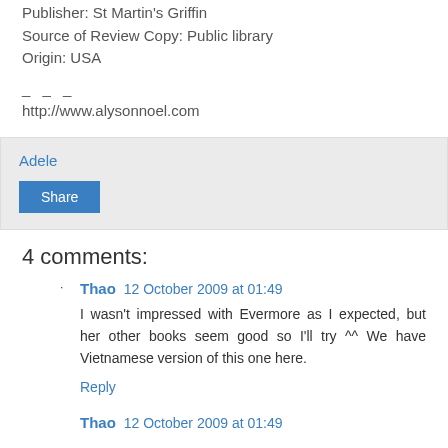Publisher: St Martin's Griffin
Source of Review Copy: Public library
Origin: USA
_ _ _
http://www.alysonnoel.com
Adele
Share
4 comments:
Thao  12 October 2009 at 01:49
I wasn't impressed with Evermore as I expected, but her other books seem good so I'll try ^^ We have Vietnamese version of this one here.
Reply
Thao  12 October 2009 at 01:49